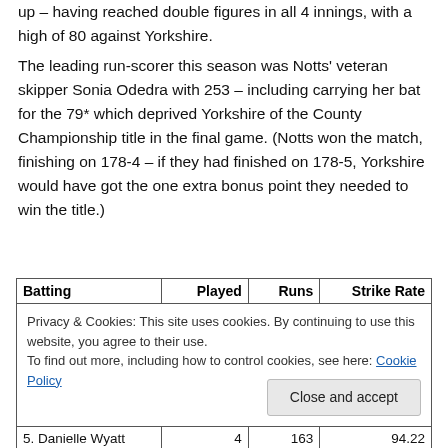up – having reached double figures in all 4 innings, with a high of 80 against Yorkshire.
The leading run-scorer this season was Notts' veteran skipper Sonia Odedra with 253 – including carrying her bat for the 79* which deprived Yorkshire of the County Championship title in the final game. (Notts won the match, finishing on 178-4 – if they had finished on 178-5, Yorkshire would have got the one extra bonus point they needed to win the title.)
| Batting | Played | Runs | Strike Rate |
| --- | --- | --- | --- |
| [cookie notice overlay] |  |  |  |
| 5. Danielle Wyatt | 4 | 163 | 94.22 |